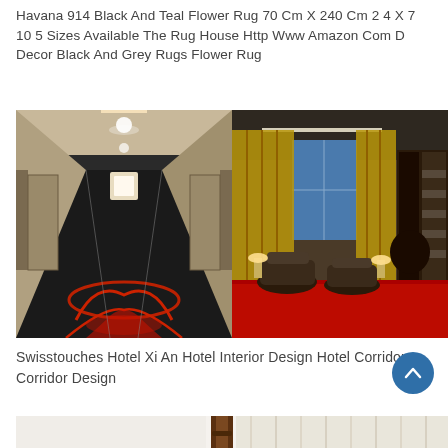Havana 914 Black And Teal Flower Rug 70 Cm X 240 Cm 2 4 X 7 10 5 Sizes Available The Rug House Http Www Amazon Com D Decor Black And Grey Rugs Flower Rug
[Figure (photo): Two side-by-side hotel interior photos. Left: hotel corridor with dark carpet featuring red floral pattern, receding perspective with recessed ceiling lights. Right: hotel lounge area with red carpet, dark leather chairs, tall windows with gold curtains.]
Swisstouches Hotel Xi An Hotel Interior Design Hotel Corridor Corridor Design
[Figure (photo): Partial bottom image showing interior with white walls, wooden banister post, and sheer curtains.]